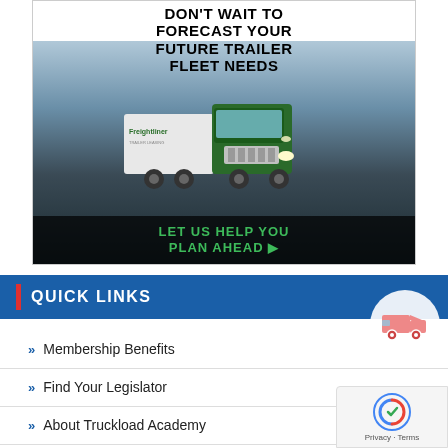[Figure (illustration): Advertisement showing a green semi-truck with text: DON'T WAIT TO FORECAST YOUR FUTURE TRAILER FLEET NEEDS at the top, and LET US HELP YOU PLAN AHEAD ► at the bottom in green text on dark background. Freightliner branding visible.]
QUICK LINKS
» Membership Benefits
» Find Your Legislator
» About Truckload Academy
» Outreach